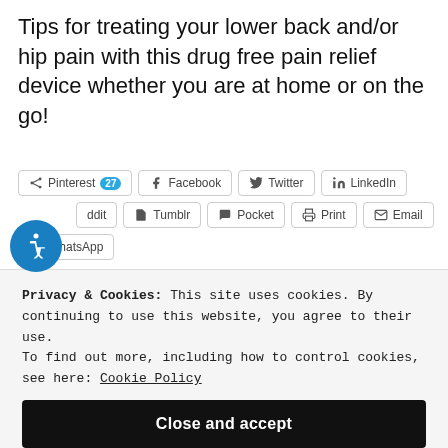Tips for treating your lower back and/or hip pain with this drug free pain relief device whether you are at home or on the go!
[Figure (screenshot): Social share buttons: Pinterest (27), Facebook, Twitter, LinkedIn, Reddit, Tumblr, Pocket, Print, Email, WhatsApp; and a blue accessibility icon]
Privacy & Cookies: This site uses cookies. By continuing to use this website, you agree to their use. To find out more, including how to control cookies, see here: Cookie Policy
Close and accept